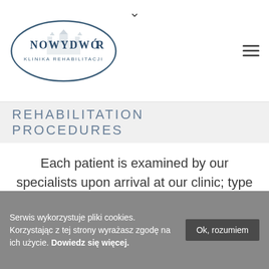[Figure (logo): Nowy Dwór Klinika Rehabilitacji oval logo with building illustration and text]
REHABILITATION PROCEDURES
Each patient is examined by our specialists upon arrival at our clinic; type of rehabilitation and kinds of treatment are prepared individually
Serwis wykorzystuje pliki cookies. Korzystając z tej strony wyrażasz zgodę na ich użycie. Dowiedz się więcej.